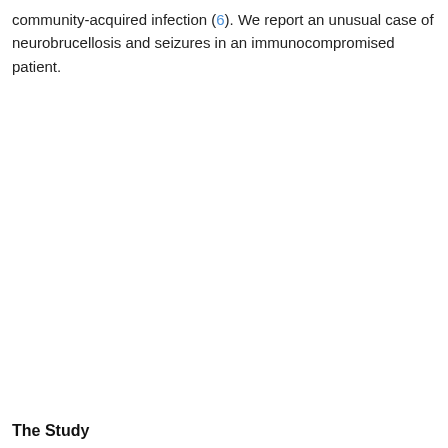community-acquired infection (6). We report an unusual case of neurobrucellosis and seizures in an immunocompromised patient.
The Study